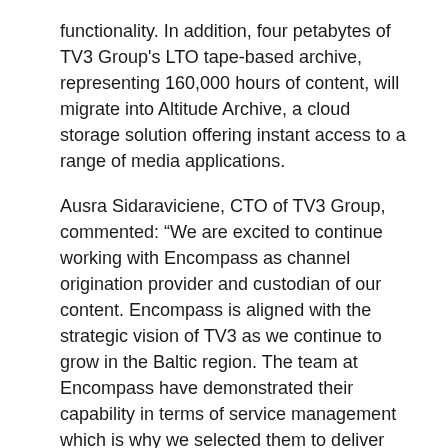functionality. In addition, four petabytes of TV3 Group's LTO tape-based archive, representing 160,000 hours of content, will migrate into Altitude Archive, a cloud storage solution offering instant access to a range of media applications.
Ausra Sidaraviciene, CTO of TV3 Group, commented: “We are excited to continue working with Encompass as channel origination provider and custodian of our content. Encompass is aligned with the strategic vision of TV3 as we continue to grow in the Baltic region. The team at Encompass have demonstrated their capability in terms of service management which is why we selected them to deliver our new channel TV3 Sport Open at the start of 2021. This renewal comes on the back of a requirement for more commercial flexibility around our services, which Altitude Media Cloud is capable of providing.”
Added Nick Thompson, Encompass managing director, EMEA: “We are delighted that TV3 Group has chosen Encompass to continue delivering services into the future and that Altitude Media Cloud will play a significant part in